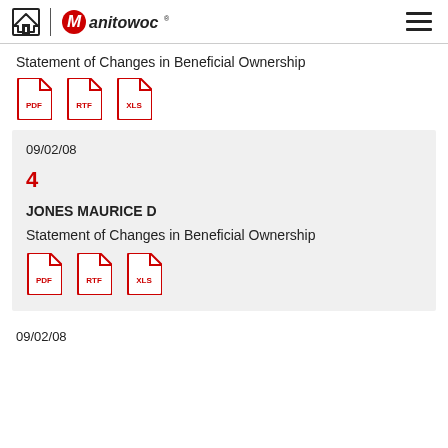Manitowoc - Statement of Changes in Beneficial Ownership
Statement of Changes in Beneficial Ownership
[Figure (other): PDF, RTF, XLS file format icons]
09/02/08
4
JONES MAURICE D
Statement of Changes in Beneficial Ownership
[Figure (other): PDF, RTF, XLS file format icons]
09/02/08